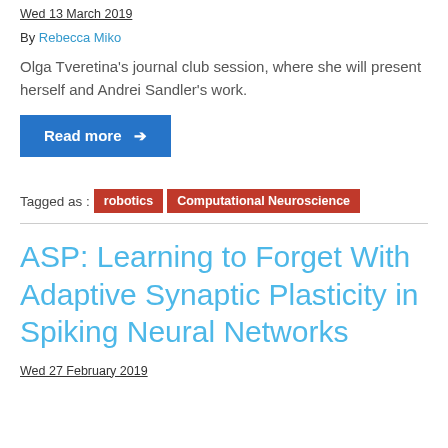Wed 13 March 2019
By Rebecca Miko
Olga Tveretina's journal club session, where she will present herself and Andrei Sandler's work.
Read more →
Tagged as : robotics  Computational Neuroscience
ASP: Learning to Forget With Adaptive Synaptic Plasticity in Spiking Neural Networks
Wed 27 February 2019